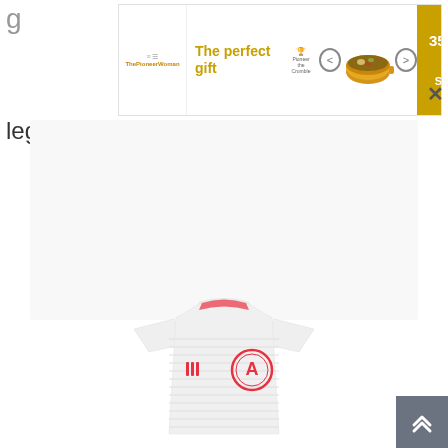legit.
[Figure (screenshot): Advertisement banner showing 'The perfect gift' with soup/food imagery, navigation arrows, and '35% OFF + FREE SHIPPING' discount box on gold background, with a close X button]
[Figure (photo): Atlanta United FC white/grey striped Adidas soccer jersey with red Adidas logo and red Atlanta United circular badge]
[Figure (other): Grey scroll-to-top button with double upward chevron arrows in bottom right corner]